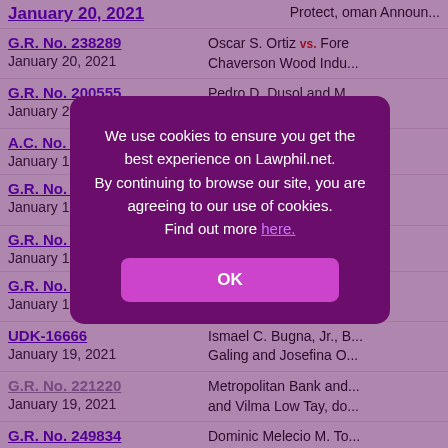G.R. No. 238289 | January 20, 2021 | Oscar S. Ortiz vs. Fore... Chaverson Wood Indu...
G.R. No. 200555 | January 20, 2021 | Pedro D. Dusol and M... as owner of...
A.C. No. 11477 | January 19, 2021 | Jaime Ignacio D. Bern...
G.R. No. 2... | January 19, 2021 | ...loyees Uni... ...a Kagawaran...
G.R. No. 234... | January 19, 2021 | ...of the Philippi...
G.R. No. 242764 | January 19, 2021 | Theo-Pam Trading Co... and the Commission o...
UDK-16666 | January 19, 2021 | Ismael C. Bugna, Jr., B... Galing and Josefina O...
G.R. No. 221220 | January 19, 2021 | Metropolitan Bank and... and Vilma Low Tay, do...
G.R. No. 249834 | January 19, 2021 | Dominic Melecio M. To... Ombudsman
A.M. No. SB-14-21-J | Re: Allegations made u...
We use cookies to ensure you get the best experience on Lawphil.net. By continuing to browse our site, you are agreeing to our use of cookies. Find out more here.